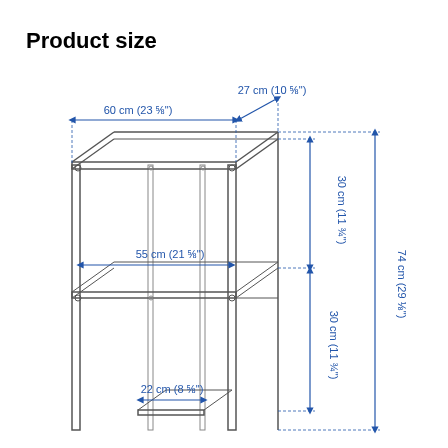Product size
[Figure (engineering-diagram): Technical dimension drawing of a shelf unit (bookcase) showing width, depth, and height measurements. Width: 60 cm (23 5/8"), depth: 27 cm (10 5/8"), inner shelf width: 55 cm (21 5/8"), inner shelf width bottom: 22 cm (8 5/8"), upper section height: 30 cm (11 3/4"), lower section height: 30 cm (11 3/4"), total height shown: 74 cm (29 1/8").]